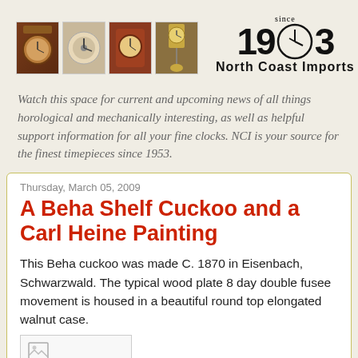[Figure (logo): North Coast Imports logo with four clock thumbnail images and 'since 1953' text with clock face replacing the 5]
Watch this space for current and upcoming news of all things horological and mechanically interesting, as well as helpful support information for all your fine clocks. NCI is your source for the finest timepieces since 1953.
Thursday, March 05, 2009
A Beha Shelf Cuckoo and a Carl Heine Painting
This Beha cuckoo was made C. 1870 in Eisenbach, Schwarzwald. The typical wood plate 8 day double fusee movement is housed in a beautiful round top elongated walnut case.
[Figure (screenshot): Partial image stub visible at the bottom of the page]